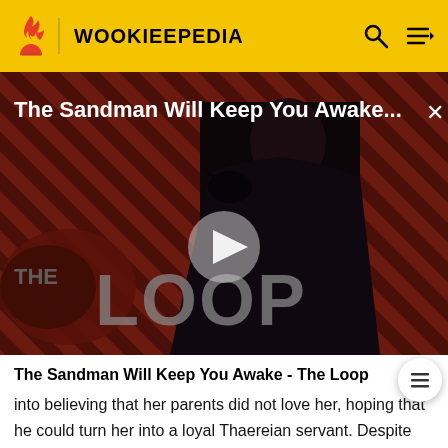WOOKIEEPEDIA
[Figure (screenshot): Video thumbnail for 'The Sandman Will Keep You Awake - The Loop' showing a dark-cloaked figure against a red diagonal striped background with 'THE LOOP' text overlay and a play button in the center]
The Sandman Will Keep You Awake - The Loop
into believing that her parents did not love her, hoping that he could turn her into a loyal Thaereian servant. Despite his efforts to persuade Wren that he cared for her,